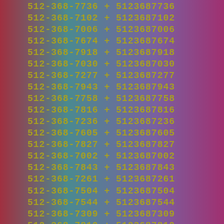512-368-7736 + 5123687736
512-368-7102 + 5123687102
512-368-7006 + 5123687006
512-368-7674 + 5123687674
512-368-7918 + 5123687918
512-368-7030 + 5123687030
512-368-7277 + 5123687277
512-368-7943 + 5123687943
512-368-7758 + 5123687758
512-368-7816 + 5123687816
512-368-7236 + 5123687236
512-368-7605 + 5123687605
512-368-7827 + 5123687827
512-368-7002 + 5123687002
512-368-7843 + 5123687843
512-368-7261 + 5123687261
512-368-7504 + 5123687504
512-368-7544 + 5123687544
512-368-7309 + 5123687309
512-368-7810 + 5123687810
512-368-7554 + 5123687554
512-368-7062 + 5123687062